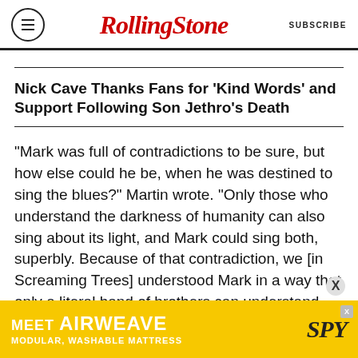RollingStone | SUBSCRIBE
Nick Cave Thanks Fans for 'Kind Words' and Support Following Son Jethro's Death
“Mark was full of contradictions to be sure, but how else could he be, when he was destined to sing the blues?” Martin wrote. “Only those who understand the darkness of humanity can also sing about its light, and Mark could sing both, superbly. Because of that contradiction, we [in Screaming Trees] understood Mark in a way that only a literal band of brothers can understand,
[Figure (other): Advertisement banner: MEET AIRWEAVE / MODULAR, WASHABLE MATTRESS with SPY logo on yellow background]